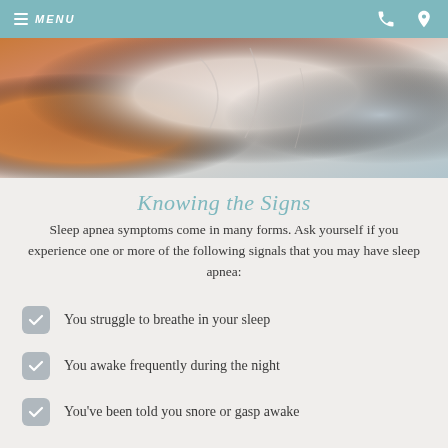MENU
[Figure (photo): Close-up photo of a person lying on a pillow or armchair, showing arm and upper body in a resting position]
Knowing the Signs
Sleep apnea symptoms come in many forms. Ask yourself if you experience one or more of the following signals that you may have sleep apnea:
You struggle to breathe in your sleep
You awake frequently during the night
You've been told you snore or gasp awake